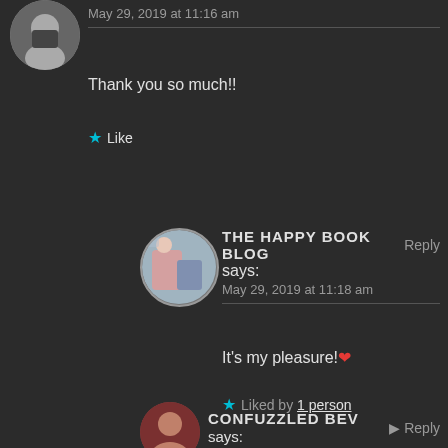May 29, 2019 at 11:16 am
Thank you so much!!
★ Like
THE HAPPY BOOK BLOG says: Reply
May 29, 2019 at 11:18 am
It's my pleasure! ❤
★ Liked by 1 person
CONFUZZLED BEV says: Reply